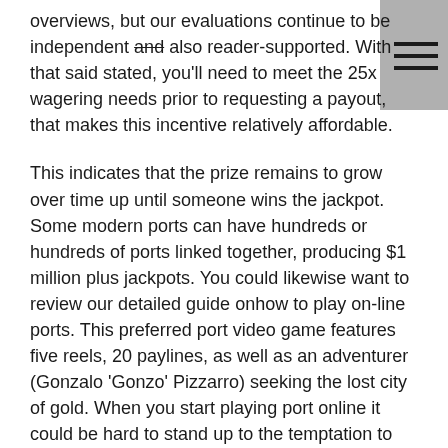overviews, but our evaluations continue to be independent and also reader-supported. With that said stated, you'll need to meet the 25x wagering needs prior to requesting a payout, that makes this incentive relatively affordable.
This indicates that the prize remains to grow over time up until someone wins the jackpot. Some modern ports can have hundreds or hundreds of ports linked together, producing $1 million plus jackpots. You could likewise want to review our detailed guide onhow to play on-line ports. This preferred port video game features five reels, 20 paylines, as well as an adventurer (Gonzalo 'Gonzo' Pizzarro) seeking the lost city of gold. When you start playing port online it could be hard to stand up to the temptation to play modern slots. The RTP is not the amount of money you'll get back when you bet on actual money ports as well as it does not suggest whether you have less possibilities to strike an incentive round or otherwise.